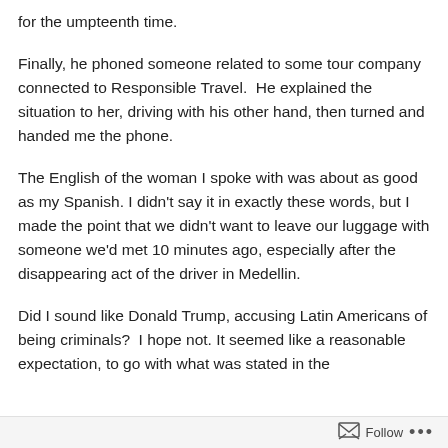for the umpteenth time.
Finally, he phoned someone related to some tour company connected to Responsible Travel.  He explained the situation to her, driving with his other hand, then turned and handed me the phone.
The English of the woman I spoke with was about as good as my Spanish. I didn't say it in exactly these words, but I made the point that we didn't want to leave our luggage with someone we'd met 10 minutes ago, especially after the disappearing act of the driver in Medellin.
Did I sound like Donald Trump, accusing Latin Americans of being criminals?  I hope not. It seemed like a reasonable expectation, to go with what was stated in the
Follow